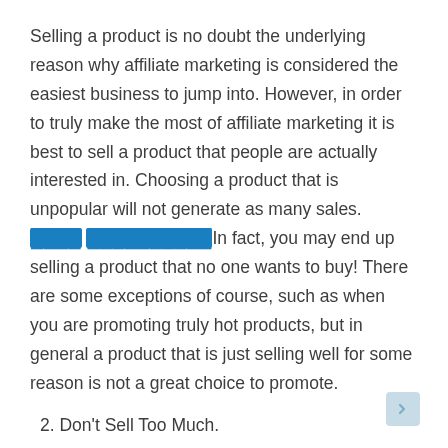Selling a product is no doubt the underlying reason why affiliate marketing is considered the easiest business to jump into. However, in order to truly make the most of affiliate marketing it is best to sell a product that people are actually interested in. Choosing a product that is unpopular will not generate as many sales. [highlighted text] In fact, you may end up selling a product that no one wants to buy! There are some exceptions of course, such as when you are promoting truly hot products, but in general a product that is just selling well for some reason is not a great choice to promote.
2. Don't Sell Too Much.